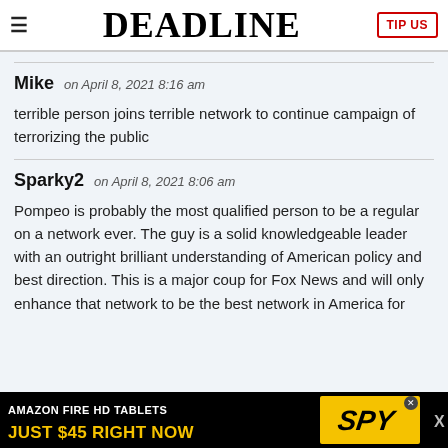DEADLINE
Mike on April 8, 2021 8:16 am
terrible person joins terrible network to continue campaign of terrorizing the public
Sparky2 on April 8, 2021 8:06 am
Pompeo is probably the most qualified person to be a regular on a network ever. The guy is a solid knowledgeable leader with an outright brilliant understanding of American policy and best direction. This is a major coup for Fox News and will only enhance that network to be the best network in America for
[Figure (infographic): Amazon Fire HD Tablets advertisement: AMAZON FIRE HD TABLETS JUST $45 RIGHT NOW with SPY logo]